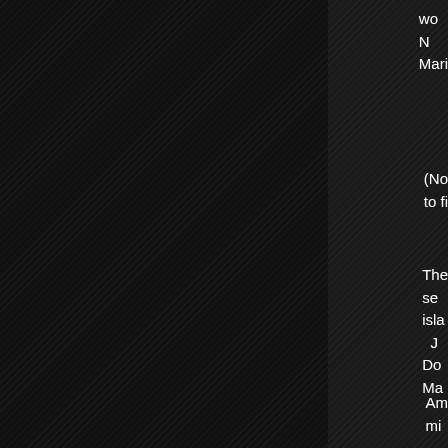wo
N
Mari
(No
to fi
The
se
isla
J
Do
Ma
Am
mi